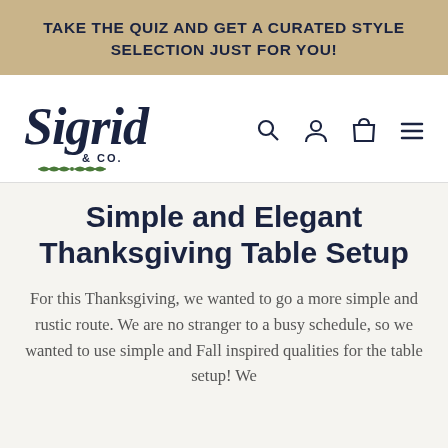TAKE THE QUIZ AND GET A CURATED STYLE SELECTION JUST FOR YOU!
[Figure (logo): Sigrid & Co. logo with decorative script lettering and green leaf branch illustration, alongside navigation icons (search, account, cart, menu)]
Simple and Elegant Thanksgiving Table Setup
For this Thanksgiving, we wanted to go a more simple and rustic route. We are no stranger to a busy schedule, so we wanted to use simple and Fall inspired qualities for the table setup! We